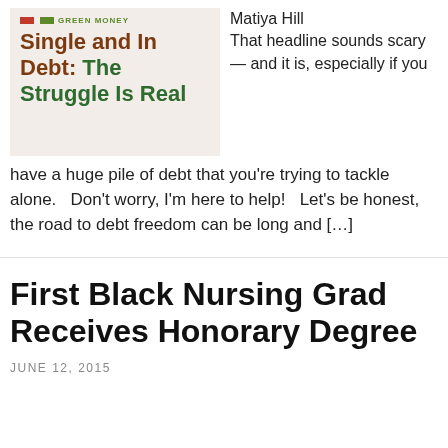[Figure (illustration): Blog post thumbnail with brown/green color scheme showing text 'Single and In Debt: The Struggle Is Real' with Green Money logo bars]
Matiya Hill
That headline sounds scary — and it is, especially if you have a huge pile of debt that you're trying to tackle alone.   Don't worry, I'm here to help!   Let's be honest, the road to debt freedom can be long and […]
First Black Nursing Grad Receives Honorary Degree
JUNE 12, 2015